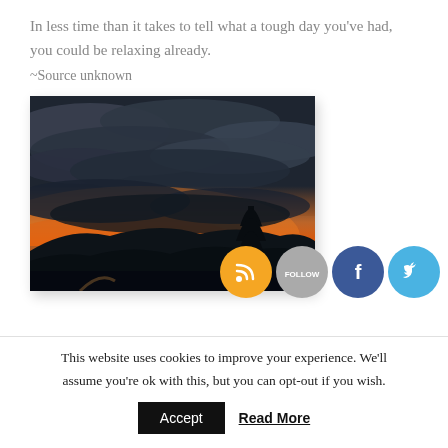In less time than it takes to tell what a tough day you've had, you could be relaxing already.
~Source unknown
[Figure (photo): Sunset landscape photograph showing dark silhouetted hills and a tree against a dramatic sky with orange and golden clouds near the horizon]
This website uses cookies to improve your experience. We'll assume you're ok with this, but you can opt-out if you wish.
Accept  Read More